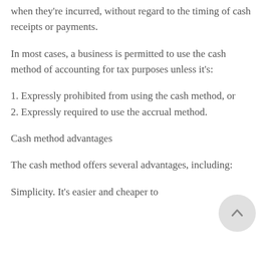when they're incurred, without regard to the timing of cash receipts or payments.
In most cases, a business is permitted to use the cash method of accounting for tax purposes unless it's:
1. Expressly prohibited from using the cash method, or
2. Expressly required to use the accrual method.
Cash method advantages
The cash method offers several advantages, including:
Simplicity. It's easier and cheaper to